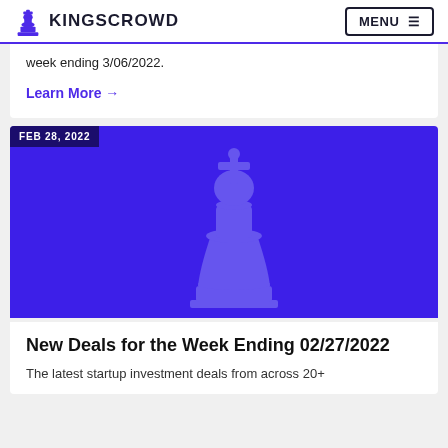KINGSCROWD | MENU
week ending 3/06/2022.
Learn More →
[Figure (illustration): Purple background image with a chess king piece silhouette in a lighter purple/blue tone, dated FEB 28, 2022 in the top-left corner badge.]
New Deals for the Week Ending 02/27/2022
The latest startup investment deals from across 20+